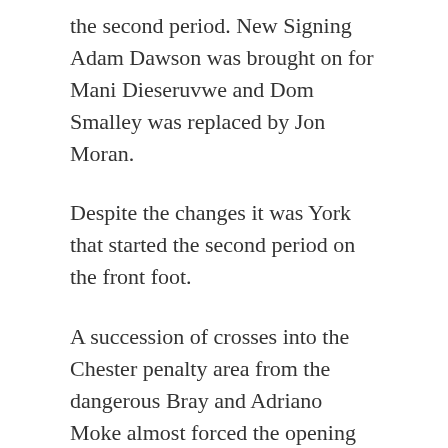the second period. New Signing Adam Dawson was brought on for Mani Dieseruvwe and Dom Smalley was replaced by Jon Moran.
Despite the changes it was York that started the second period on the front foot.
A succession of crosses into the Chester penalty area from the dangerous Bray and Adriano Moke almost forced the opening goal but the Blues defence held firm and it remained goalless.
But it was Chester had the best chance of the half. Another dangerous delivery from Mahon this time beat the covering defenders but went agonisingly away from the outstretched Jon Moran and Danny Livesey – either only needed to make contact with the ball to give the Blues the lead.